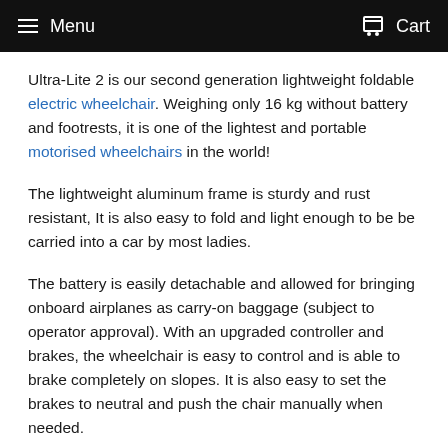Menu  Cart
Ultra-Lite 2 is our second generation lightweight foldable electric wheelchair. Weighing only 16 kg without battery and footrests, it is one of the lightest and portable motorised wheelchairs in the world!
The lightweight aluminum frame is sturdy and rust resistant, It is also easy to fold and light enough to be be carried into a car by most ladies.
The battery is easily detachable and allowed for bringing onboard airplanes as carry-on baggage (subject to operator approval). With an upgraded controller and brakes, the wheelchair is easy to control and is able to brake completely on slopes. It is also easy to set the brakes to neutral and push the chair manually when needed.
Each battery allows up to 10 km of travel, and a FREE back-up